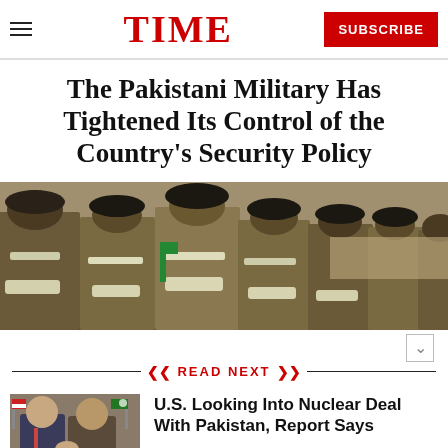TIME | SUBSCRIBE
The Pakistani Military Has Tightened Its Control of the Country's Security Policy
[Figure (photo): Pakistani military soldiers in uniform marching in formation during a parade, wearing dark berets and white gloves]
READ NEXT
[Figure (photo): Two men in suits shaking hands, likely diplomats]
U.S. Looking Into Nuclear Deal With Pakistan, Report Says